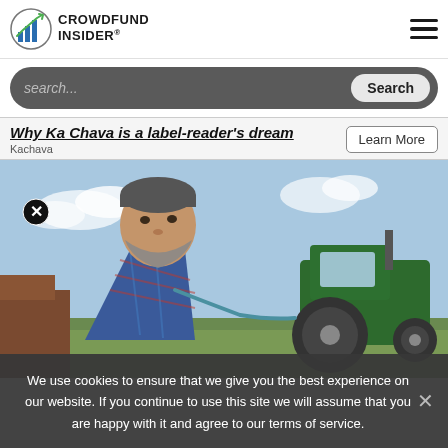CROWDFUND INSIDER
search...
Why Ka Chava is a label-reader's dream
Kachava
[Figure (photo): A bearded man in a plaid shirt looking toward camera with a green tractor in the background outdoors]
We use cookies to ensure that we give you the best experience on our website. If you continue to use this site we will assume that you are happy with it and agree to our terms of service.